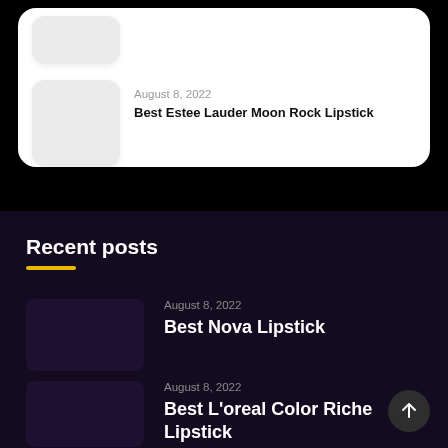[Figure (screenshot): White rounded card showing a list item with thumbnail placeholder and post metadata]
August 8, 2022
Best Estee Lauder Moon Rock Lipstick
Recent posts
August 8, 2022
Best Nova Lipstick
August 8, 2022
Best L'oreal Color Riche Lipstick